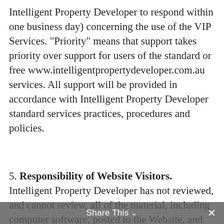Intelligent Property Developer to respond within one business day) concerning the use of the VIP Services. "Priority" means that support takes priority over support for users of the standard or free www.intelligentpropertydeveloper.com.au services. All support will be provided in accordance with Intelligent Property Developer standard services practices, procedures and policies.
5. Responsibility of Website Visitors. Intelligent Property Developer has not reviewed, and cannot review, all of the material, including computer software, posted to the Website, and cannot therefore be responsible for that material's content, use or
Share This